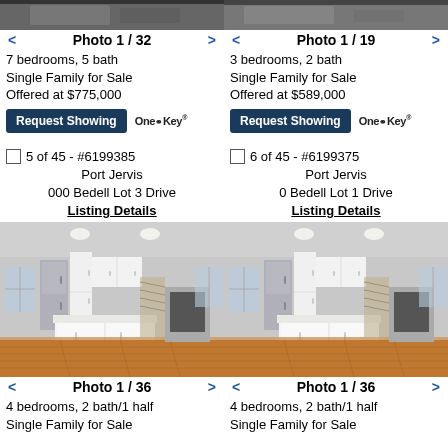[Figure (photo): Top partial photo of exterior property listing left column]
[Figure (photo): Top partial photo of exterior property listing right column]
< Photo 1 / 32 >
< Photo 1 / 19 >
7 bedrooms, 5 bath
Single Family for Sale
Offered at $775,000
3 bedrooms, 2 bath
Single Family for Sale
Offered at $589,000
Request Showing   OneKey
Request Showing   OneKey
5 of 45 - #6199385
Port Jervis
000 Bedell Lot 3 Drive
Listing Details
6 of 45 - #6199375
Port Jervis
0 Bedell Lot 1 Drive
Listing Details
[Figure (photo): Interior kitchen photo with white cabinets, island, hardwood floors - left listing]
[Figure (photo): Interior kitchen photo with white cabinets, island, hardwood floors - right listing]
< Photo 1 / 36 >
< Photo 1 / 36 >
4 bedrooms, 2 bath/1 half
Single Family for Sale
4 bedrooms, 2 bath/1 half
Single Family for Sale